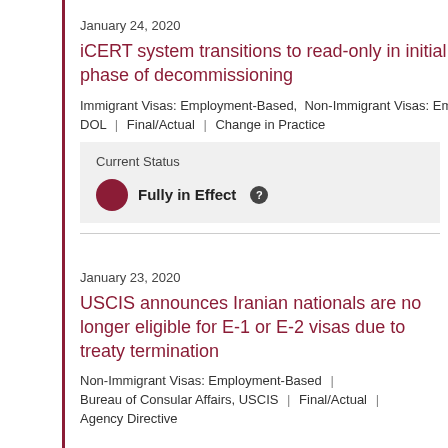January 24, 2020
iCERT system transitions to read-only in initial phase of decommissioning
Immigrant Visas: Employment-Based, Non-Immigrant Visas: Emp
DOL | Final/Actual | Change in Practice
Current Status
Fully in Effect ?
January 23, 2020
USCIS announces Iranian nationals are no longer eligible for E-1 or E-2 visas due to treaty termination
Non-Immigrant Visas: Employment-Based |
Bureau of Consular Affairs, USCIS | Final/Actual |
Agency Directive